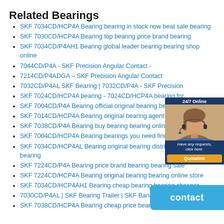Related Bearings
SKF 7034CD/HCP4A Bearing bearing in stock now beat sale bearing
SKF 7030CD/HCP4A Bearing top bearing price brand bearing
SKF 7034CD/P4AH1 Bearing global leader bearing bearing shop online
7044CD/P4A - SKF Precision Angular Contact -
7214CD/P4ADGA – SKF Precision Angular Contact
7032CD/P4AL SKF Bearing | 7032CD/P4A - SKF Precision
SKF 7024CD/HCP4A bearing - 7024CD/HCP4A bearing for
SKF 7004CD/P4A Bearing official original bearing bearing info
SKF 7014CD/HCP4A Bearing original bearing agent bearing or
SKF 7038CD/P4A Bearing buy bearing bearing online store
SKF 7004CD/HCP4A Bearing bearings you need find bearing here
SKF 7034CD/HCP4AL Bearing original bearing distributor specialized bearing
SKF 7224CD/P4A Bearing price brand bearing bearing sale
SKF 7224CD/HCP4A Bearing original bearing bearing online store
SKF 7034CD/HCP4AH1 Bearing cheap bearing bearing cheaper
7030CD/P4AL | SKF Bearing Trailer | SKF Bangkok
SKF 7038CD/HCP4A Bearing cheap price bearing price
[Figure (other): 24/7 online chat widget with customer service representative photo, 'Have any requests, click here.' text, and Quotation button]
[Figure (other): Blue contact button overlay]